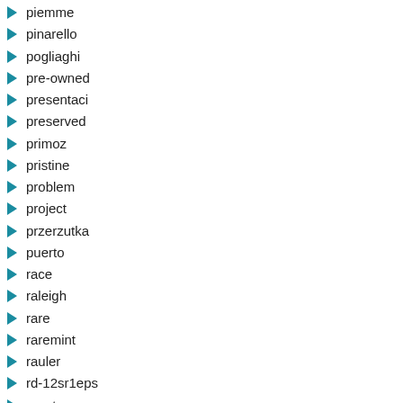piemme
pinarello
pogliaghi
pre-owned
presentaci
preserved
primoz
pristine
problem
project
przerzutka
puerto
race
raleigh
rare
raremint
rauler
rd-12sr1eps
reactor
rear-
reasons
record
reduced